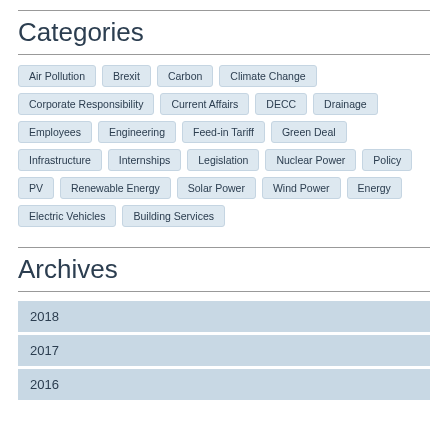Categories
Air Pollution
Brexit
Carbon
Climate Change
Corporate Responsibility
Current Affairs
DECC
Drainage
Employees
Engineering
Feed-in Tariff
Green Deal
Infrastructure
Internships
Legislation
Nuclear Power
Policy
PV
Renewable Energy
Solar Power
Wind Power
Energy
Electric Vehicles
Building Services
Archives
2018
2017
2016